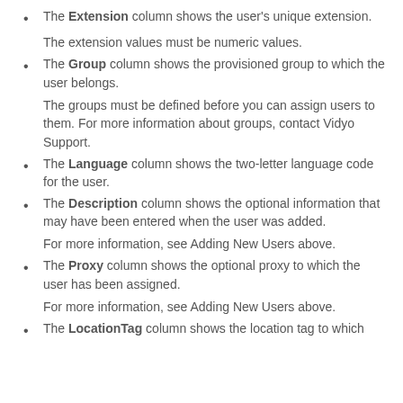The Extension column shows the user's unique extension.
The extension values must be numeric values.
The Group column shows the provisioned group to which the user belongs.
The groups must be defined before you can assign users to them. For more information about groups, contact Vidyo Support.
The Language column shows the two-letter language code for the user.
The Description column shows the optional information that may have been entered when the user was added.
For more information, see Adding New Users above.
The Proxy column shows the optional proxy to which the user has been assigned.
For more information, see Adding New Users above.
The LocationTag column shows the location tag to which